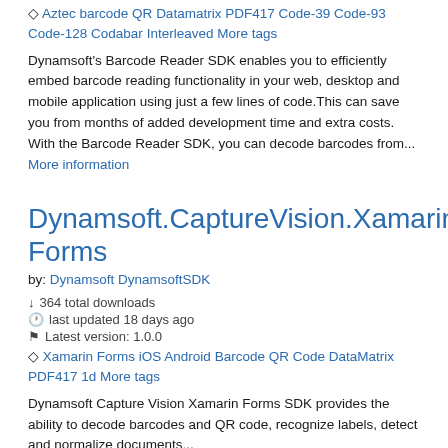Aztec barcode QR Datamatrix PDF417 Code-39 Code-93 Code-128 Codabar Interleaved More tags
Dynamsoft's Barcode Reader SDK enables you to efficiently embed barcode reading functionality in your web, desktop and mobile application using just a few lines of code.This can save you from months of added development time and extra costs. With the Barcode Reader SDK, you can decode barcodes from... More information
Dynamsoft.CaptureVision.Xamarin.Forms
by: Dynamsoft DynamsoftSDK
364 total downloads
last updated 18 days ago
Latest version: 1.0.0
Xamarin Forms iOS Android Barcode QR Code DataMatrix PDF417 1d More tags
Dynamsoft Capture Vision Xamarin Forms SDK provides the ability to decode barcodes and QR code, recognize labels, detect and normalize documents...